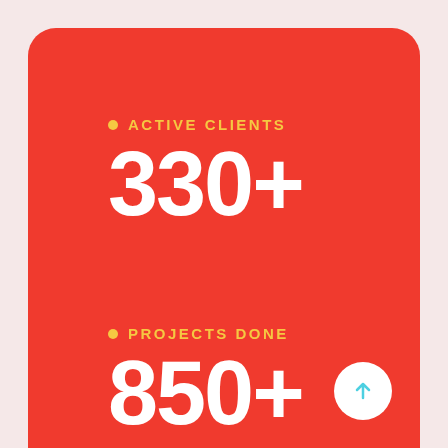ACTIVE CLIENTS
330+
PROJECTS DONE
850+